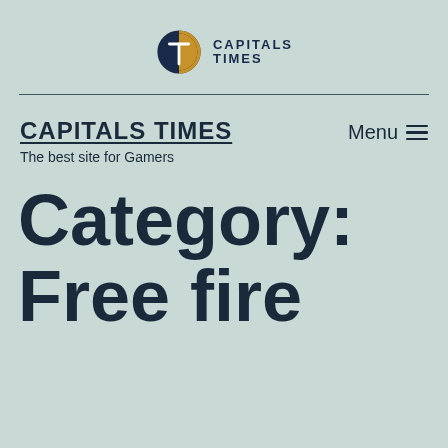[Figure (logo): Capitals Times logo: circular C-T icon in navy and gold, with text 'CAPITALS TIMES' in navy caps to the right]
CAPITALS TIMES
The best site for Gamers
Category:
Free fire